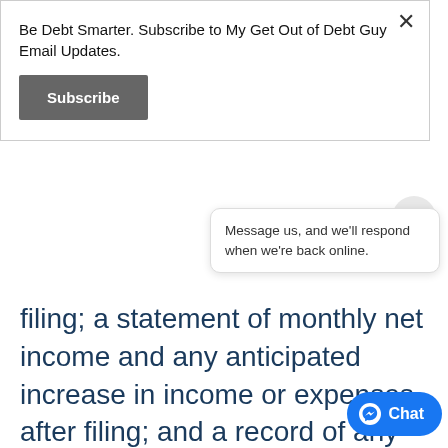Be Debt Smarter. Subscribe to My Get Out of Debt Guy Email Updates.
Subscribe
filing; a statement of monthly net income and any anticipated increase in income or expenses after filing; and a record of any interest the debtor has in federal or state qualified education or tuition accounts. Id. A husband and wife may file a joint petition or individual p Even if filing subject to all the document filing requirements of individual debtors. (The Official Forms may be purchased at legal
Message us, and we'll respond when we're back online.
Chat